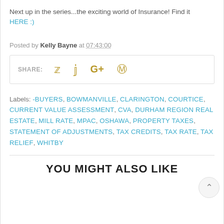Next up in the series...the exciting world of Insurance! Find it
HERE :)
Posted by Kelly Bayne at 07:43:00
SHARE:
Labels: -BUYERS, BOWMANVILLE, CLARINGTON, COURTICE, CURRENT VALUE ASSESSMENT, CVA, DURHAM REGION REAL ESTATE, MILL RATE, MPAC, OSHAWA, PROPERTY TAXES, STATEMENT OF ADJUSTMENTS, TAX CREDITS, TAX RATE, TAX RELIEF, WHITBY
YOU MIGHT ALSO LIKE